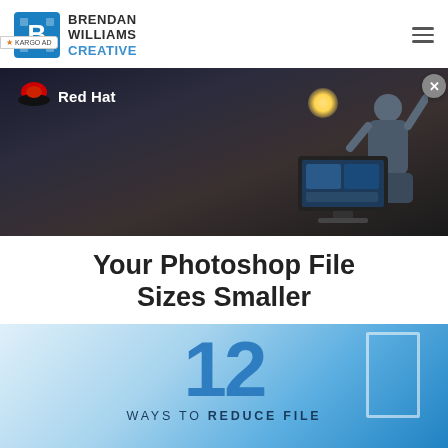BRENDAN WILLIAMS CREATIVE
[Figure (photo): Red Hat advertisement banner showing a person at a desk with arms raised celebrating, with a monitor showing a video call, in a dark room with a lamp]
Your Photoshop File Sizes Smaller
[Figure (infographic): Infographic with large blue number 12 and text reading WAYS TO REDUCE FILE on a blue gradient background]